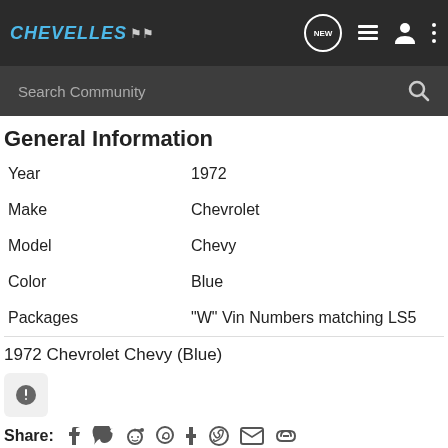CHEVELLES
| Field | Value |
| --- | --- |
| Year | 1972 |
| Make | Chevrolet |
| Model | Chevy |
| Color | Blue |
| Packages | "W" Vin Numbers matching LS5 |
1972 Chevrolet Chevy (Blue)
Share: